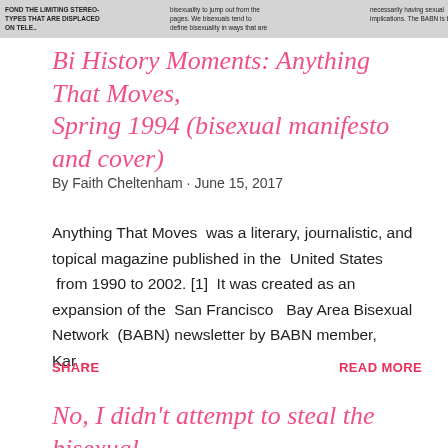[Figure (screenshot): Partial newspaper/magazine clipping showing columns of text about bisexuality and BABN]
Bi History Moments: Anything That Moves, Spring 1994 (bisexual manifesto and cover)
By Faith Cheltenham · June 15, 2017
Anything That Moves  was a literary, journalistic, and topical magazine published in the  United States  from 1990 to 2002. [1]  It was created as an expansion of the  San Francisco   Bay Area Bisexual Network  (BABN) newsletter by BABN member, Kar   ...
SHARE    READ MORE
No, I didn't attempt to steal the bisexual pride fla...